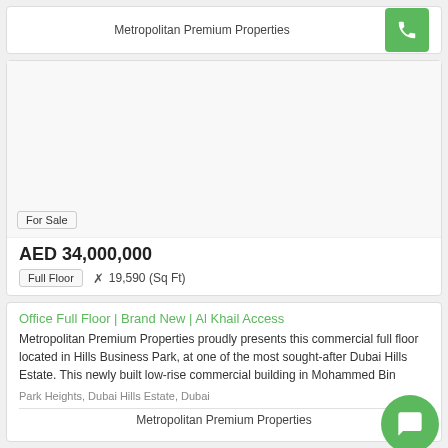Metropolitan Premium Properties
[Figure (photo): Property listing image area (blank/white)]
For Sale
AED 34,000,000
Full Floor   19,590 (Sq Ft)
Office Full Floor | Brand New | Al Khail Access
Metropolitan Premium Properties proudly presents this commercial full floor located in Hills Business Park, at one of the most sought-after Dubai Hills Estate. This newly built low-rise commercial building in Mohammed Bin
Park Heights, Dubai Hills Estate, Dubai
Metropolitan Premium Properties